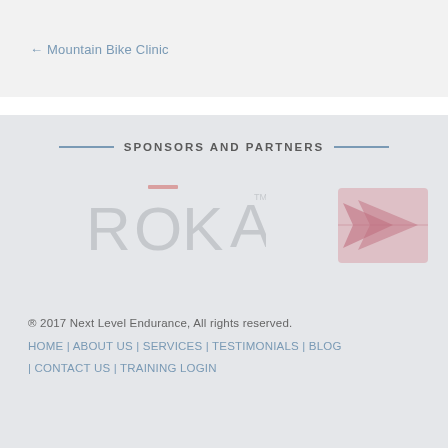← Mountain Bike Clinic
SPONSORS AND PARTNERS
[Figure (logo): ROKA brand logo in light gray watermark style with a red line above the letter O]
[Figure (logo): Abstract arrow/flag logo in muted pink/red square box, watermark style]
® 2017 Next Level Endurance, All rights reserved.
HOME | ABOUT US | SERVICES | TESTIMONIALS | BLOG | CONTACT US | TRAINING LOGIN